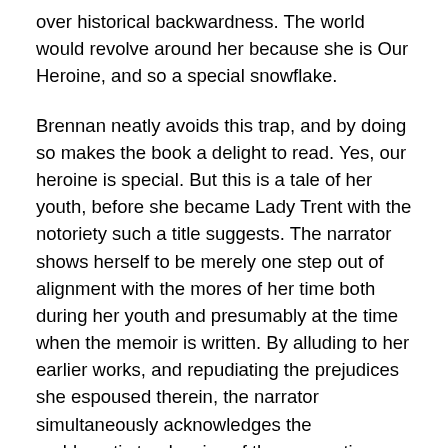over historical backwardness. The world would revolve around her because she is Our Heroine, and so a special snowflake.
Brennan neatly avoids this trap, and by doing so makes the book a delight to read. Yes, our heroine is special. But this is a tale of her youth, before she became Lady Trent with the notoriety such a title suggests. The narrator shows herself to be merely one step out of alignment with the mores of her time both during her youth and presumably at the time when the memoir is written. By alluding to her earlier works, and repudiating the prejudices she espoused therein, the narrator simultaneously acknowledges the problematic tendencies of the source time period, and provides justification for the narrator's anachronism. The narrator does not share the attitudes of the time period of which she is writing because